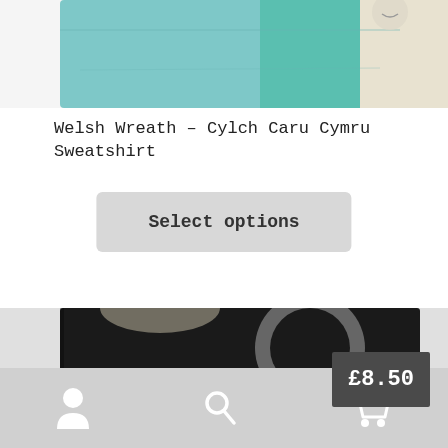[Figure (photo): Top portion of a sweatshirt product photo showing teal/mint and cream colored fabric]
Welsh Wreath – Cylch Caru Cymru Sweatshirt
Select options
[Figure (photo): Black sweatshirt with grey/cream circular wreath design, price badge showing £8.50]
Navigation bar with user account, search, and cart icons (cart shows 0 items)